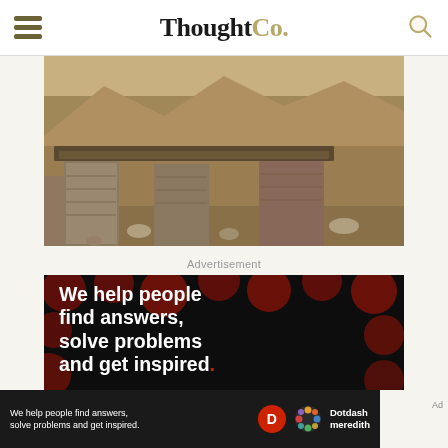ThoughtCo.
[Figure (photo): Archaeological stone ruins with thatched/wooden roof structure in a desert landscape]
Advertisement
[Figure (infographic): Black background ad with dark red polka dots. White bold text reads: We help people find answers, solve problems and get inspired. with a red period. Bottom bar shows smaller version of text and Dotdash Meredith logo.]